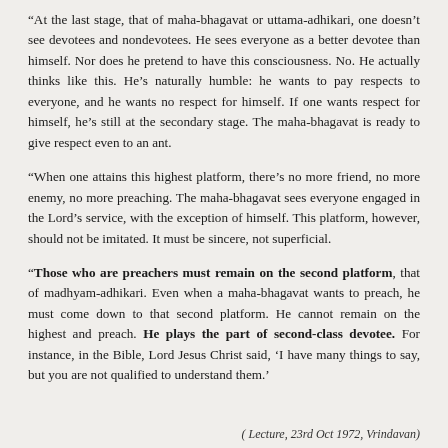“At the last stage, that of maha-bhagavat or uttama-adhikari, one doesn’t see devotees and nondevotees. He sees everyone as a better devotee than himself. Nor does he pretend to have this consciousness. No. He actually thinks like this. He’s naturally humble: he wants to pay respects to everyone, and he wants no respect for himself. If one wants respect for himself, he’s still at the secondary stage. The maha-bhagavat is ready to give respect even to an ant.
“When one attains this highest platform, there’s no more friend, no more enemy, no more preaching. The maha-bhagavat sees everyone engaged in the Lord’s service, with the exception of himself. This platform, however, should not be imitated. It must be sincere, not superficial.
“Those who are preachers must remain on the second platform, that of madhyam-adhikari. Even when a maha-bhagavat wants to preach, he must come down to that second platform. He cannot remain on the highest and preach. He plays the part of second-class devotee. For instance, in the Bible, Lord Jesus Christ said, ‘I have many things to say, but you are not qualified to understand them.’
( Lecture, 23rd Oct 1972, Vrindavan)